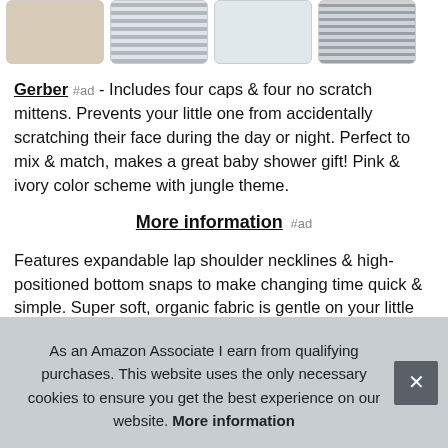[Figure (photo): Four product thumbnail images of baby caps and mittens sets in a horizontal row, showing beige/tan fabric, gray stripes, animal print, and gray stripe variants]
Gerber #ad - Includes four caps & four no scratch mittens. Prevents your little one from accidentally scratching their face during the day or night. Perfect to mix & match, makes a great baby shower gift! Pink & ivory color scheme with jungle theme.
More information #ad
Features expandable lap shoulder necklines & high-positioned bottom snaps to make changing time quick & simple. Super soft, organic fabric is gentle on your little one's skin as well as on the planet. A perfect choice for natural minded parents
As an Amazon Associate I earn from qualifying purchases. This website uses the only necessary cookies to ensure you get the best experience on our website. More information